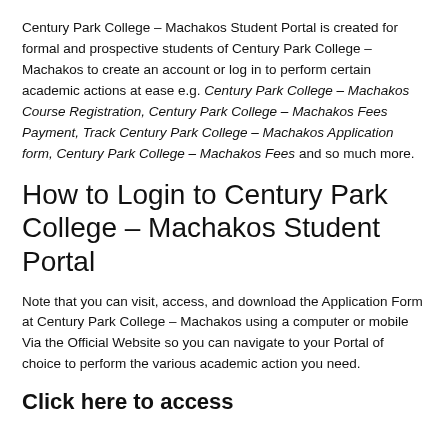Century Park College – Machakos Student Portal is created for formal and prospective students of Century Park College – Machakos to create an account or log in to perform certain academic actions at ease e.g. Century Park College – Machakos Course Registration, Century Park College – Machakos Fees Payment, Track Century Park College – Machakos Application form, Century Park College – Machakos Fees and so much more.
How to Login to Century Park College – Machakos Student Portal
Note that you can visit, access, and download the Application Form at Century Park College – Machakos using a computer or mobile Via the Official Website so you can navigate to your Portal of choice to perform the various academic action you need.
Click here to access